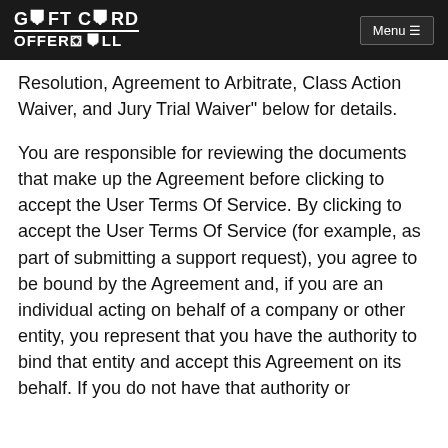GIFT CARD OFFERWALL | Menu
Resolution, Agreement to Arbitrate, Class Action Waiver, and Jury Trial Waiver" below for details.
You are responsible for reviewing the documents that make up the Agreement before clicking to accept the User Terms Of Service. By clicking to accept the User Terms Of Service (for example, as part of submitting a support request), you agree to be bound by the Agreement and, if you are an individual acting on behalf of a company or other entity, you represent that you have the authority to bind that entity and accept this Agreement on its behalf. If you do not have that authority or